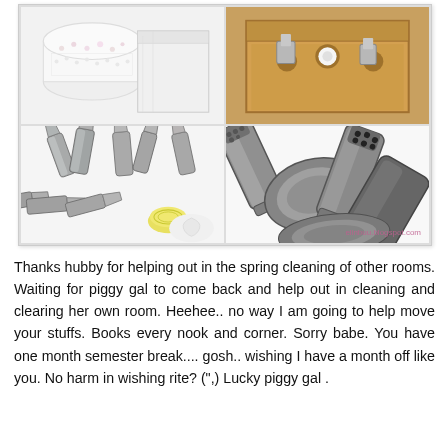[Figure (photo): A 2x2 collage of images showing cake decorating nozzle/piping tip sets. Top-left: a white decorated cake next to a box of tools on white background. Top-right: a kraft cardboard box containing piping nozzles and a coupler. Bottom-left: multiple stainless steel piping nozzles scattered on white surface with a yellow coupler. Bottom-right: close-up of stainless steel piping nozzles with a watermark 'elinbuu.blogspot.com'.]
Thanks hubby for helping out in the spring cleaning of other rooms. Waiting for piggy gal to come back and help out in cleaning and clearing her own room. Heehee.. no way I am going to help move your stuffs. Books every nook and corner. Sorry babe. You have one month semester break.... gosh.. wishing I have a month off like you. No harm in wishing rite? (",) Lucky piggy gal .